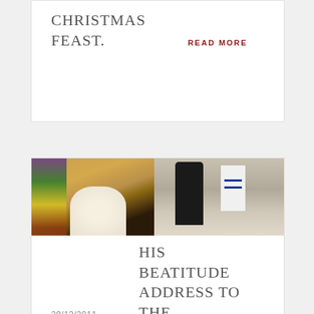CHRISTMAS FEAST.
READ MORE
[Figure (photo): Two-panel photo: left panel shows a church interior with stained glass and floral arrangement at a podium; right panel shows a figure in black Orthodox clerical vestments at a podium with an Israeli flag in the background.]
29/12/2011
HIS BEATITUDE ADDRESS TO THE.